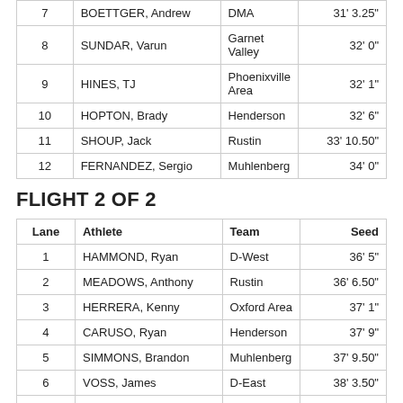| Lane | Athlete | Team | Seed |
| --- | --- | --- | --- |
| 7 | BOETTGER, Andrew | DMA | 31' 3.25" |
| 8 | SUNDAR, Varun | Garnet Valley | 32' 0" |
| 9 | HINES, TJ | Phoenixville Area | 32' 1" |
| 10 | HOPTON, Brady | Henderson | 32' 6" |
| 11 | SHOUP, Jack | Rustin | 33' 10.50" |
| 12 | FERNANDEZ, Sergio | Muhlenberg | 34' 0" |
FLIGHT 2 OF 2
| Lane | Athlete | Team | Seed |
| --- | --- | --- | --- |
| 1 | HAMMOND, Ryan | D-West | 36' 5" |
| 2 | MEADOWS, Anthony | Rustin | 36' 6.50" |
| 3 | HERRERA, Kenny | Oxford Area | 37' 1" |
| 4 | CARUSO, Ryan | Henderson | 37' 9" |
| 5 | SIMMONS, Brandon | Muhlenberg | 37' 9.50" |
| 6 | VOSS, James | D-East | 38' 3.50" |
| 7 | KOPERA, Kyle | Phoenixville Area | 38' 7" |
| 8 | MONTAGANO, Arnaldo | OJR | 43' 3" |